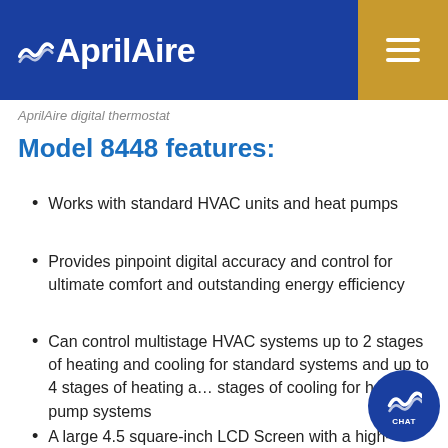AprilAire
AprilAire digital thermostat
Model 8448 features:
Works with standard HVAC units and heat pumps
Provides pinpoint digital accuracy and control for ultimate comfort and outstanding energy efficiency
Can control multistage HVAC systems up to 2 stages of heating and cooling for standard systems and up to 4 stages of heating and stages of cooling for heat pump systems
A large 4.5 square-inch LCD Screen with a high-